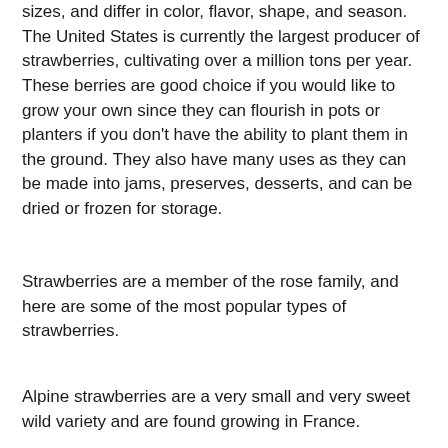sizes, and differ in color, flavor, shape, and season. The United States is currently the largest producer of strawberries, cultivating over a million tons per year. These berries are good choice if you would like to grow your own since they can flourish in pots or planters if you don't have the ability to plant them in the ground. They also have many uses as they can be made into jams, preserves, desserts, and can be dried or frozen for storage.
Strawberries are a member of the rose family, and here are some of the most popular types of strawberries.
Alpine strawberries are a very small and very sweet wild variety and are found growing in France.